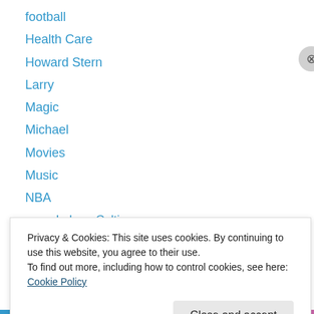football
Health Care
Howard Stern
Larry
Magic
Michael
Movies
Music
NBA
Lakers-Celtics
Michael, Magic, Larry, and Dr. J
Washington Wizards
NFL
Privacy & Cookies: This site uses cookies. By continuing to use this website, you agree to their use.
To find out more, including how to control cookies, see here: Cookie Policy